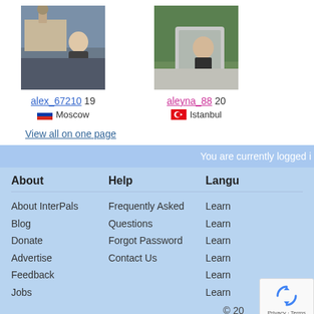[Figure (photo): Profile photo of alex_67210, male, age 19, from Moscow. Photo shows a young man standing in front of a large classical building.]
alex_67210 19
Moscow
[Figure (photo): Profile photo of aleyna_88, female, age 20, from Istanbul. Photo shows a person taking a selfie in a car side mirror with green trees in background.]
aleyna_88 20
Istanbul
View all on one page
You are currently logged i
About
About InterPals
Blog
Donate
Advertise
Feedback
Jobs
Help
Frequently Asked Questions
Forgot Password
Contact Us
Langu
Learn
Learn
Learn
Learn
Learn
Learn
© 20
[Figure (other): reCAPTCHA badge with recycling arrow icon and Privacy - Terms text]